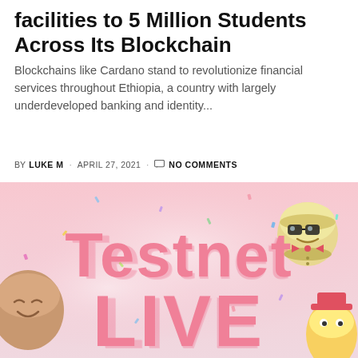…facilities to 5 Million Students Across Its Blockchain
Blockchains like Cardano stand to revolutionize financial services throughout Ethiopia, a country with largely underdeveloped banking and identity...
BY  LUKE M  ·  APRIL 27, 2021  ·  NO COMMENTS
[Figure (photo): Promotional image with pink background and cartoon characters showing text 'Testnet LIVE' in large pink letters with confetti]